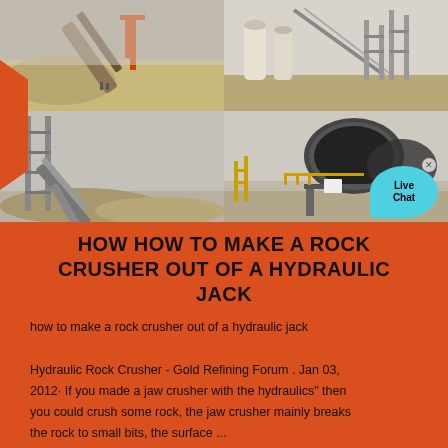[Figure (photo): Four industrial mining/crushing facility photos arranged in a 2x2 grid. Top-left: conveyor belts and rock crusher with orange machinery and gravel piles. Top-right: industrial plant with conveyor structures and silos. Bottom-left: tall conveyor belt framework over gravel mounds. Bottom-right: large cylindrical industrial drum/ball mill on scaffolding structure.]
HOW HOW TO MAKE A ROCK CRUSHER OUT OF A HYDRAULIC JACK
how to make a rock crusher out of a hydraulic jack

Hydraulic Rock Crusher - Gold Refining Forum . Jan 03, 2012· If you made a jaw crusher with the hydraulics" then you could crush some rock, the jaw crusher mainly breaks the rock to small bits, the surface ...